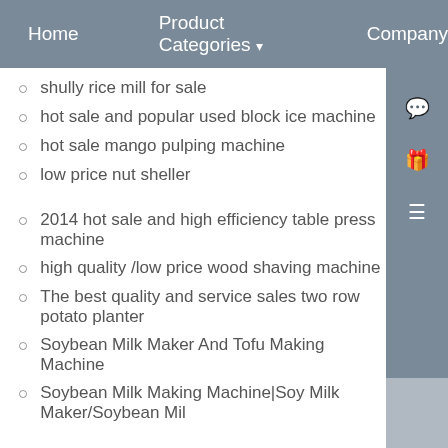Home   Product Categories ▾   Company
shully rice mill for sale
hot sale and popular used block ice machine
hot sale mango pulping machine
low price nut sheller
2014 hot sale and high efficiency table press machine
high quality /low price wood shaving machine
The best quality and service sales two row potato planter
Soybean Milk Maker And Tofu Making Machine
Soybean Milk Making Machine|Soy Milk Maker/Soybean Mil...
Automatic apricot cutting and pitting machine/fruit pulper machine
Sugarcoating Machine| Water chestnuts sugar coating machine
dry way peanut peeling machine/india peanut peeling machine
milk sugar sugarcoating machine
CE CERTIFICATED seafood vegetable string machine/shrimp we...